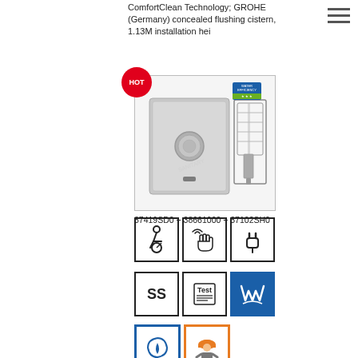ComfortClean Technology; GROHE (Germany) concealed flushing cistern, 1.13M installation hei
[Figure (photo): Product photo showing GROHE Tectron Skate electronic flush control panel (chrome square plate with round sensor button) alongside concealed cistern mechanism and water efficiency label]
[Figure (infographic): Row of product feature icons: disability access symbol, touch/sensor hand symbol, power plug symbol (black bordered squares)]
[Figure (infographic): Row of product feature icons: SS (stainless steel), Test documentation, WRAS water approved logo (blue bordered squares)]
[Figure (infographic): Row of product feature icons: water drop/eco label (blue border), worker/professional installation (orange border)]
37419SD0 + 38661000 + 37102SH0
Tectron Skate
L156 x W19 x H197mm
GROHE (Germany)
Infra-red electronic flushing control with